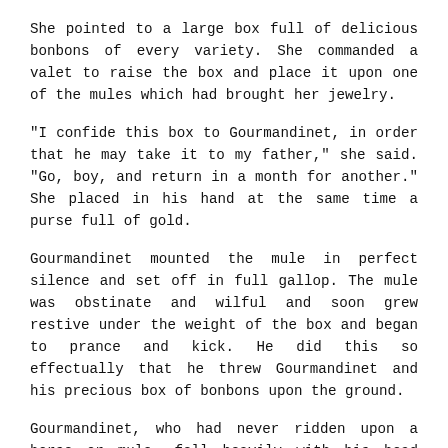She pointed to a large box full of delicious bonbons of every variety. She commanded a valet to raise the box and place it upon one of the mules which had brought her jewelry.
"I confide this box to Gourmandinet, in order that he may take it to my father," she said. "Go, boy, and return in a month for another." She placed in his hand at the same time a purse full of gold.
Gourmandinet mounted the mule in perfect silence and set off in full gallop. The mule was obstinate and wilful and soon grew restive under the weight of the box and began to prance and kick. He did this so effectually that he threw Gourmandinet and his precious box of bonbons upon the ground.
Gourmandinet, who had never ridden upon a horse or mule, fell heavily with his head upon the stones and died instantly.